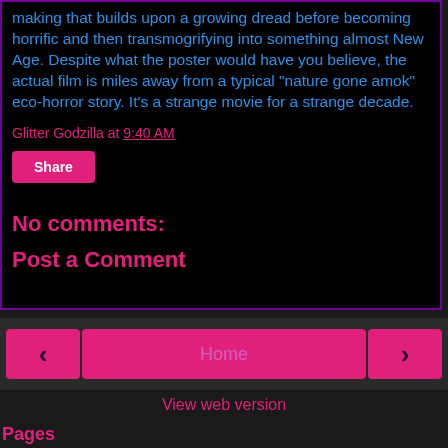making that builds upon a growing dread before becoming horrific and then transmogrifying into something almost New Age. Despite what the poster would have you believe, the actual film is miles away from a typical “nature gone amok” eco-horror story.  It’s a strange movie for a strange decade.
Glitter Godzilla at 9:40 AM
Share
No comments:
Post a Comment
Home
View web version
Pages